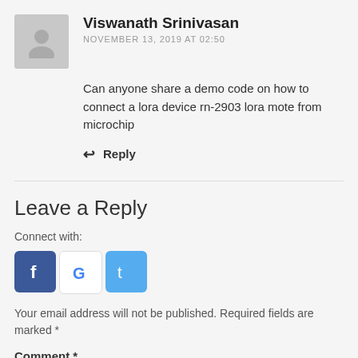Viswanath Srinivasan
NOVEMBER 13, 2019 AT 02:50
Can anyone share a demo code on how to connect a lora device rn-2903 lora mote from microchip
Reply
Leave a Reply
Connect with:
[Figure (logo): Social login buttons: Facebook (blue with f), Google (white with G), Twitter (light blue with t)]
Your email address will not be published. Required fields are marked *
Comment *